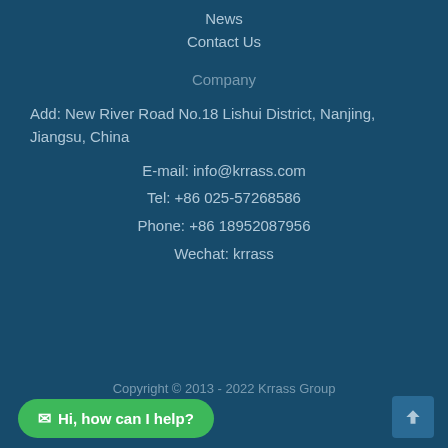News
Contact Us
Company
Add: New River Road No.18 Lishui District, Nanjing, Jiangsu, China
E-mail: info@krrass.com
Tel: +86 025-57268586
Phone: +86 18952087956
Wechat: krrass
Copyright © 2013 - 2022 Krrass Group